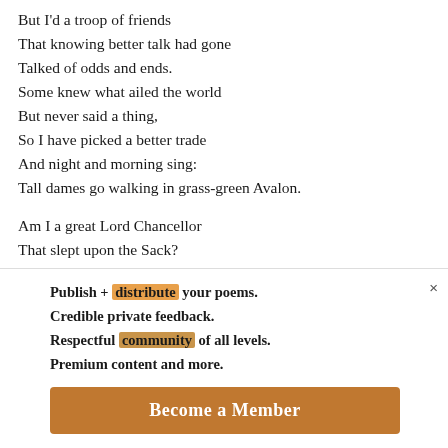But I'd a troop of friends
That knowing better talk had gone
Talked of odds and ends.
Some knew what ailed the world
But never said a thing,
So I have picked a better trade
And night and morning sing:
Tall dames go walking in grass-green Avalon.

Am I a great Lord Chancellor
That slept upon the Sack?
Commanding officer that tore
Publish + distribute your poems.
Credible private feedback.
Respectful community of all levels.
Premium content and more.

Become a Member